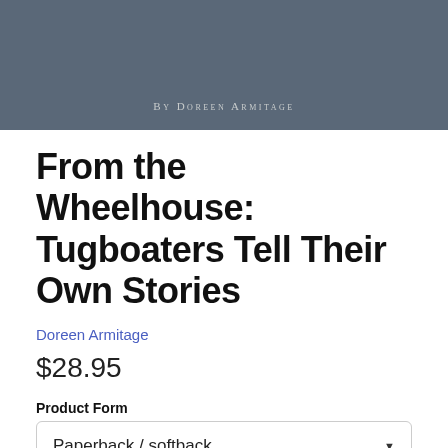[Figure (photo): Book cover image with dark blue-grey background and text 'By Doreen Armitage' in small caps]
From the Wheelhouse: Tugboaters Tell Their Own Stories
Doreen Armitage
$28.95
Product Form
Paperback / softback
1